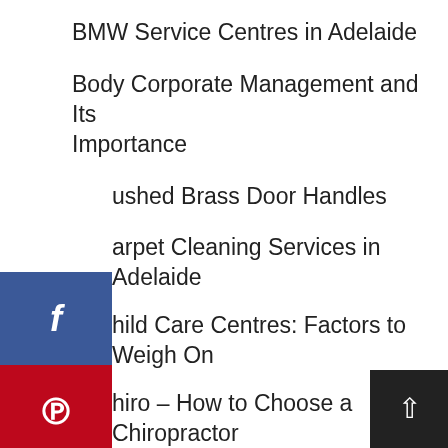BMW Service Centres in Adelaide
Body Corporate Management and Its Importance
Brushed Brass Door Handles
Carpet Cleaning Services in Adelaide
Child Care Centres: Factors to Weigh On
Chiro – How to Choose a Chiropractor
Contact
De Lorenzo Shampoo For A Difference In Your Tresses
Determining the Right Steel Supplier
Different Types of Hearing Test Providers Offer